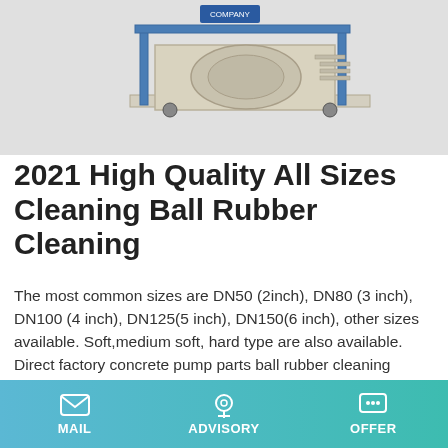[Figure (photo): Industrial concrete pump machine on a light gray background]
2021 High Quality All Sizes Cleaning Ball Rubber Cleaning
The most common sizes are DN50 (2inch), DN80 (3 inch), DN100 (4 inch), DN125(5 inch), DN150(6 inch), other sizes available. Soft,medium soft, hard type are also available. Direct factory concrete pump parts ball rubber cleaning sponge ball keyword: Concrete Pump Parts Ball Sponge cleaning ball Advantages: 1.
Learn More
[Figure (photo): Partial view of construction or industrial equipment at bottom of page]
MAIL   ADVISORY   OFFER